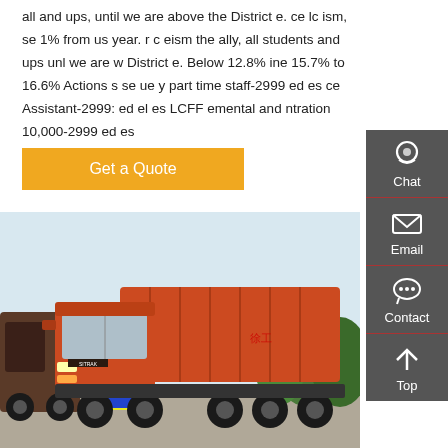all and ups, until we are above the District e. ce lc ism, se 1% from us year. r c eism the ally, all students and ups unl we are w District e. Below 12.8% ine 15.7% to 16.6% Actions s se ue y part time staff-2999 ed es ce Assistant-2999: ed el es LCFF emental and ntration 10,000-2999 ed es
[Figure (other): Orange 'Get a Quote' button]
[Figure (photo): Photo of a large orange SINOTRUK/SITRAK dump truck parked in a lot with trees in the background]
[Figure (other): Sidebar with Chat, Email, Contact, and Top navigation icons on dark gray background]